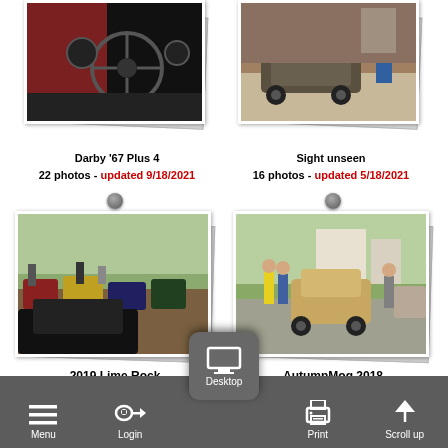[Figure (photo): Car interior/dashboard photo card - Darby '67 Plus 4]
[Figure (photo): Vintage vehicle in garage photo card - Sight unseen]
Darby '67 Plus 4
22 photos - updated 9/18/2021
Sight unseen
16 photos - updated 5/18/2021
[Figure (photo): Car show/Lime Rock 2019 photo card]
[Figure (photo): AutumnMog 2018 vintage cars photo card]
2019 Lime Rock
4 photos - updated 1/6/2020
AutumnMog 2018
40 photos - updated 3/11/2019
Menu  Login  Desktop  Print  Scroll up